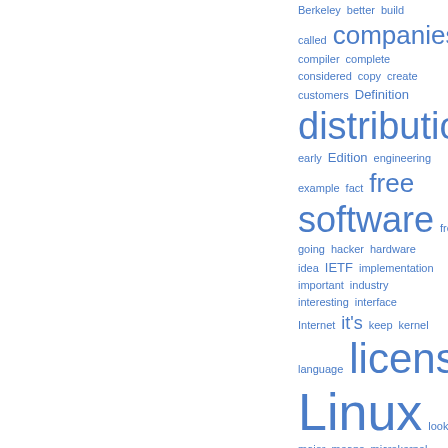[Figure (infographic): Word cloud featuring terms related to free software, Linux, and open source. Words shown in varying sizes proportional to frequency: Berkeley, better, build, called, companies, compiler, complete, considered, copy, create, customers, Definition, distribution, document, early, Edition, engineering, example, fact, free software, freedom, give, going, hacker, hardware, idea, IETF, implementation, important, industry, interesting, interface, Internet, it's, keep, kernel, language, license, Linux, look, machines, major, means, microkernel, Microsoft, Minix, modify. All words in blue color.]